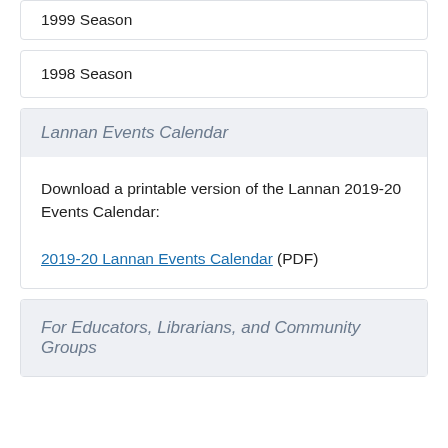1999 Season
1998 Season
Lannan Events Calendar
Download a printable version of the Lannan 2019-20 Events Calendar:

2019-20 Lannan Events Calendar (PDF)
For Educators, Librarians, and Community Groups